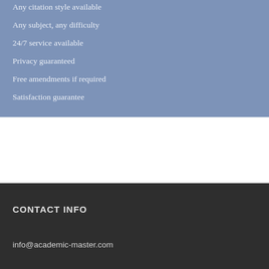Any citation style available
Any subject, any difficulty
24/7 service available
Privacy guaranteed
Free amendments if required
Satisfaction guarantee
CONTACT INFO
info@academic-master.com